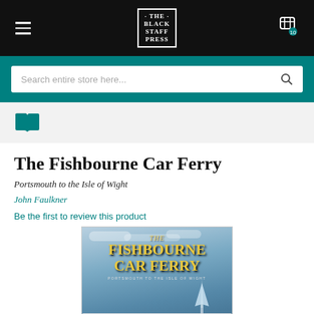THE BLACK STAFF PRESS
Search entire store here...
[Figure (illustration): Open book icon in teal color]
The Fishbourne Car Ferry
Portsmouth to the Isle of Wight
John Faulkner
Be the first to review this product
[Figure (photo): Book cover of The Fishbourne Car Ferry showing the title in gold text against a sky background with the Spinnaker Tower and a ferry]